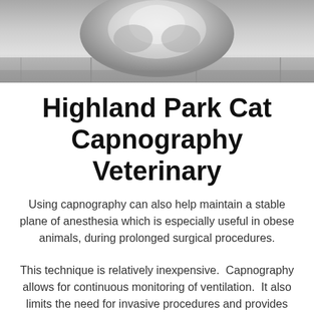[Figure (photo): Black and white photo of a cat (appears to be a fluffy/long-haired cat) viewed from above, on a wooden floor surface. Only the top portion of the cat is visible.]
Highland Park Cat Capnography Veterinary
Using capnography can also help maintain a stable plane of anesthesia which is especially useful in obese animals, during prolonged surgical procedures.
This technique is relatively inexpensive.  Capnography allows for continuous monitoring of ventilation.  It also limits the need for invasive procedures and provides valuable information about the respiratory status of your pet.